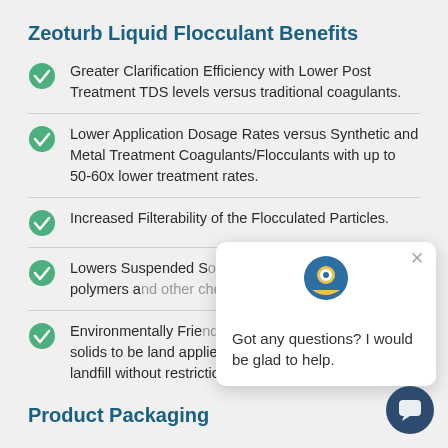Zeoturb Liquid Flocculant Benefits
Greater Clarification Efficiency with Lower Post Treatment TDS levels versus traditional coagulants.
Lower Application Dosage Rates versus Synthetic and Metal Treatment Coagulants/Flocculants with up to 50-60x lower treatment rates.
Increased Filterability of the Flocculated Particles.
Lowers Suspended [Solids without the use of] synthetic polymers a[nd other chemicals.]
Environmentally Frie[ndly — allows disposal] of sludge solids to be land applied or safely disposed in a typical landfill without restrictions.
Product Packaging